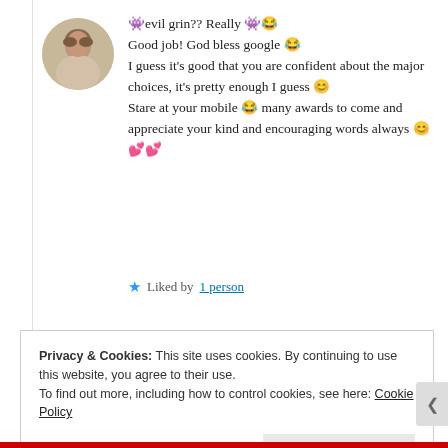[Figure (photo): Circular avatar photo of a woman]
👾evil grin?? Really 👾😂 Good job! God bless google 😂 I guess it's good that you are confident about the major choices, it's pretty enough I guess 😊 Stare at your mobile 😂 many awards to come and appreciate your kind and encouraging words always 😊💕💕
★ Liked by 1 person
Privacy & Cookies: This site uses cookies. By continuing to use this website, you agree to their use.
To find out more, including how to control cookies, see here: Cookie Policy
Close and accept